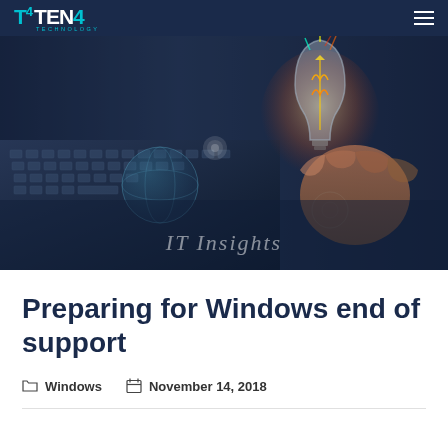TEN4 TECHNOLOGY
[Figure (photo): Hero image showing a hand holding a glowing light bulb with digital/circuit overlays, next to a laptop keyboard on a dark blue background, with 'IT Insights' text overlay]
Preparing for Windows end of support
Windows   November 14, 2018